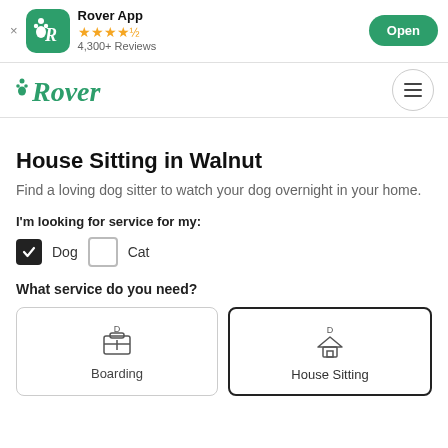Rover App — 4,300+ Reviews — Open
[Figure (logo): Rover logo with paw print icon in green]
House Sitting in Walnut
Find a loving dog sitter to watch your dog overnight in your home.
I'm looking for service for my:
Dog (checked), Cat (unchecked)
What service do you need?
Boarding, House Sitting (selected)